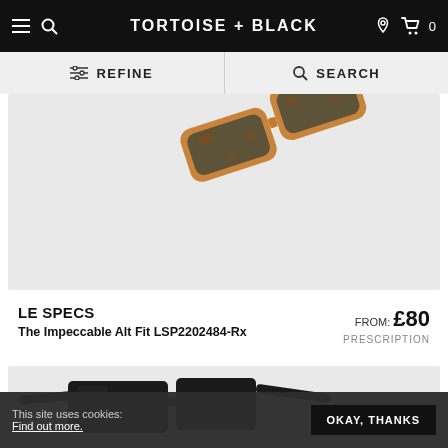TORTOISE + BLACK
REFINE   SEARCH
[Figure (photo): Close-up of tortoiseshell frame sunglasses from Le Specs - The Impeccable Alt Fit, shown at an angle with amber/brown tortoise frame and dark lenses]
LE SPECS    The Impeccable Alt Fit LSP2202484-Rx    FROM: £80    PRESCRIPTION
[Figure (photo): Black sunglasses with rectangular frames, shown at an angle - bottom portion of product listing image]